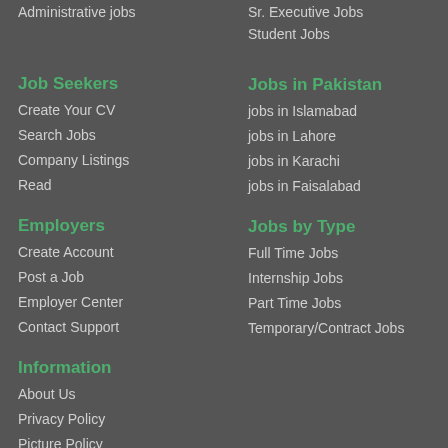Administrative jobs
Sr. Executive Jobs
Student Jobs
Job Seekers
Create Your CV
Search Jobs
Company Listings
Read
Jobs in Pakistan
jobs in Islamabad
jobs in Lahore
jobs in Karachi
jobs in Faisalabad
Employers
Create Account
Post a Job
Employer Center
Contact Support
Jobs by Type
Full Time Jobs
Internship Jobs
Part Time Jobs
Temporary/Contract Jobs
Information
About Us
Privacy Policy
Picture Policy
Sitemap